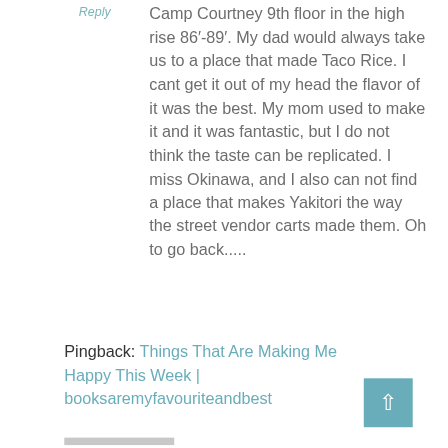Reply
Camp Courtney 9th floor in the high rise 86'-89'. My dad would always take us to a place that made Taco Rice. I cant get it out of my head the flavor of it was the best. My mom used to make it and it was fantastic, but I do not think the taste can be replicated. I miss Okinawa, and I also can not find a place that makes Yakitori the way the street vendor carts made them. Oh to go back.....
Pingback: Things That Are Making Me Happy This Week | booksaremyfavouriteandbest